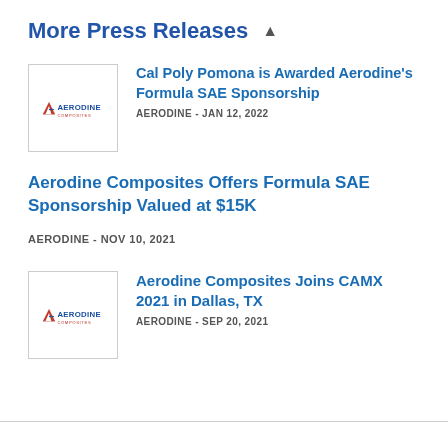More Press Releases ▲
[Figure (logo): Aerodine Composites logo]
Cal Poly Pomona is Awarded Aerodine's Formula SAE Sponsorship
AERODINE - JAN 12, 2022
Aerodine Composites Offers Formula SAE Sponsorship Valued at $15K
AERODINE - NOV 10, 2021
[Figure (logo): Aerodine Composites logo]
Aerodine Composites Joins CAMX 2021 in Dallas, TX
AERODINE - SEP 20, 2021